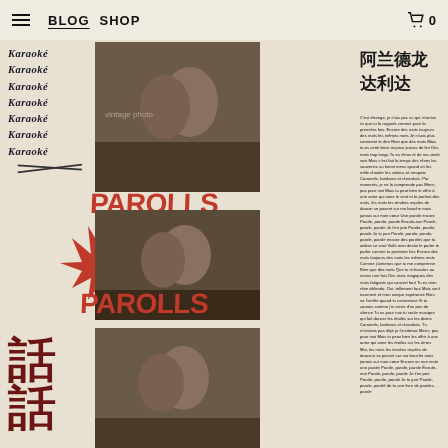BLOG  SHOP  0
[Figure (photo): Magazine-style artwork page: Karaoke text repeated in dark serif font on left, Chinese characters top right (阿兰德龙 达利达), red 'PAROLLS' text in two places, red starburst graphic, three vintage black-and-white photos of a man and woman in romantic poses, large Chinese characters 話話 bottom left, dense French song lyrics column on right side.]